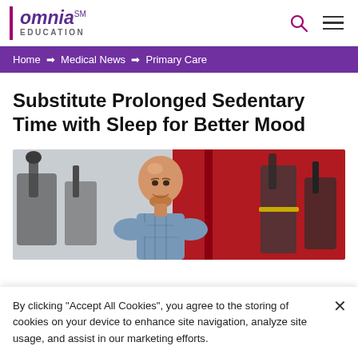omnia™ EDUCATION
Home → Medical News → Primary Care
Substitute Prolonged Sedentary Time with Sleep for Better Mood
[Figure (photo): A smiling bald man with light beard in a plaid shirt standing in a gym with exercise equipment and red wall in background]
By clicking "Accept All Cookies", you agree to the storing of cookies on your device to enhance site navigation, analyze site usage, and assist in our marketing efforts.